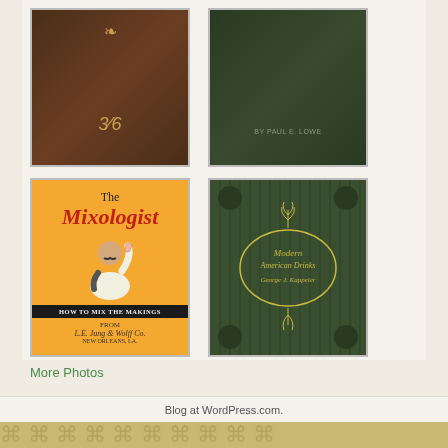[Figure (photo): Top-left: Dark brown leather book cover with gold ornament and decorative embossing]
[Figure (photo): Top-right: Dark green book cover with text 'By Paul E. Lowe']
[Figure (photo): Bottom-left: 'The Mixologist - How to Mix the Makings' book cover from L.E. Jung & Wolff Co., New Orleans, LA with illustration of a bartender]
[Figure (photo): Bottom-right: 'Modern American Drinks' book cover by George J. Kappeler, dark green with gold decorative lettering and floral ornaments]
More Photos
Blog at WordPress.com.